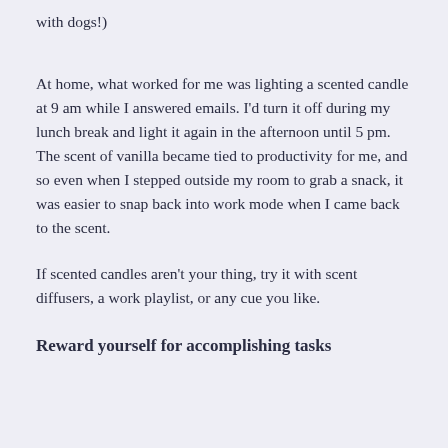with dogs!)
At home, what worked for me was lighting a scented candle at 9 am while I answered emails. I'd turn it off during my lunch break and light it again in the afternoon until 5 pm. The scent of vanilla became tied to productivity for me, and so even when I stepped outside my room to grab a snack, it was easier to snap back into work mode when I came back to the scent.
If scented candles aren't your thing, try it with scent diffusers, a work playlist, or any cue you like.
Reward yourself for accomplishing tasks